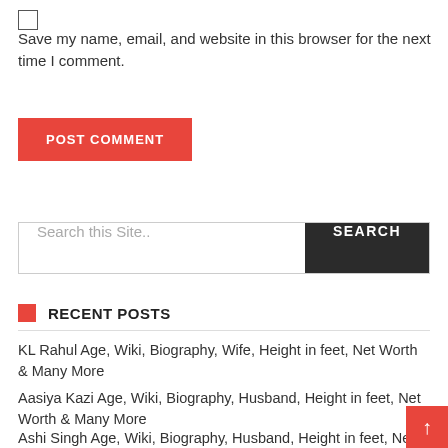Save my name, email, and website in this browser for the next time I comment.
POST COMMENT
Search this Site..
RECENT POSTS
KL Rahul Age, Wiki, Biography, Wife, Height in feet, Net Worth & Many More
Aasiya Kazi Age, Wiki, Biography, Husband, Height in feet, Net Worth & Many More
Ashi Singh Age, Wiki, Biography, Husband, Height in feet, Net